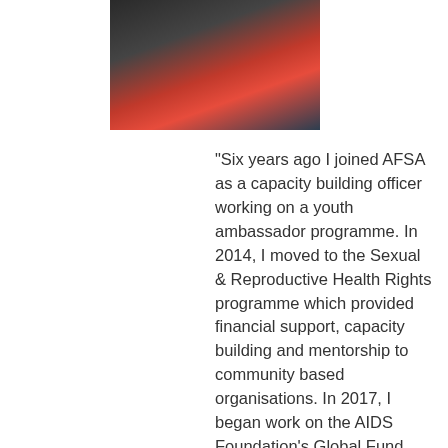[Figure (photo): Portrait photo of a person wearing a red top and dark jacket]
“Six years ago I joined AFSA as a capacity building officer working on a youth ambassador programme. In 2014, I moved to the Sexual & Reproductive Health Rights programme which provided financial support, capacity building and mentorship to community based organisations. In 2017, I began work on the AIDS Foundation’s Global Fund Programme and my main focus is on developing the capacity of community based organisations for program implementation in the areas of HIV Testing Services,